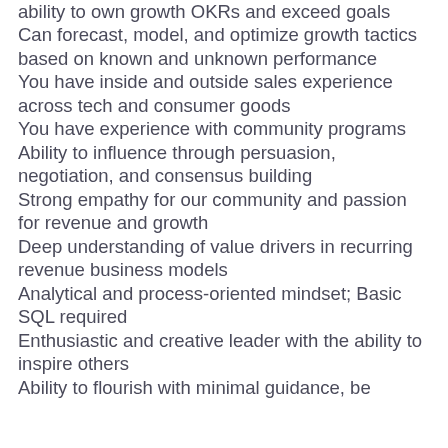ability to own growth OKRs and exceed goals
Can forecast, model, and optimize growth tactics based on known and unknown performance
You have inside and outside sales experience across tech and consumer goods
You have experience with community programs
Ability to influence through persuasion, negotiation, and consensus building
Strong empathy for our community and passion for revenue and growth
Deep understanding of value drivers in recurring revenue business models
Analytical and process-oriented mindset; Basic SQL required
Enthusiastic and creative leader with the ability to inspire others
Ability to flourish with minimal guidance, be